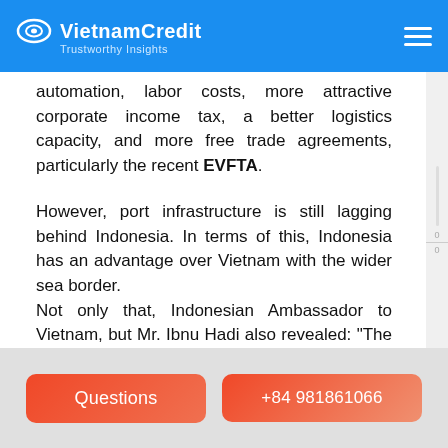VietnamCredit Trustworthy Insights
automation, labor costs, more attractive corporate income tax, a better logistics capacity, and more free trade agreements, particularly the recent EVFTA.
However, port infrastructure is still lagging behind Indonesia. In terms of this, Indonesia has an advantage over Vietnam with the wider sea border.
Not only that, Indonesian Ambassador to Vietnam, but Mr. Ibnu Hadi also revealed: "The process of granting investment licenses to foreigners in Vietnam is really easy. Therefore, the investment can take place quickly and more favorable.
Questions | +84 981861066